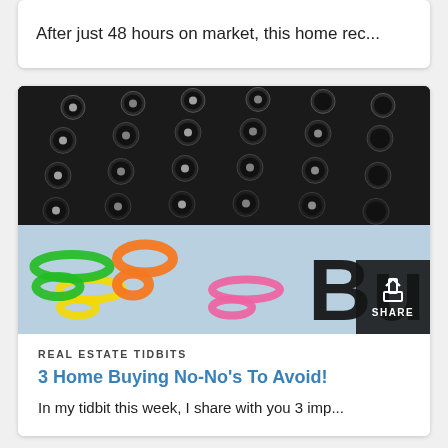After just 48 hours on market, this home rec...
[Figure (photo): Close-up photo of a black calculator with round keys, alongside colorful paper clips (yellow, green, orange, pink) on a light blue document background with partial text 'Bu' visible]
REAL ESTATE TIDBITS
3 Home Buying No-No's To Avoid!
In my tidbit this week, I share with you 3 imp...